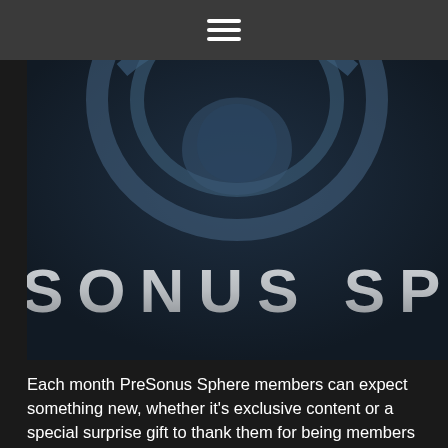≡
[Figure (logo): PreSonus Sphere logo on dark navy background. Shows partial circular emblem in steel blue at top, and text 'SONUS SPH' in large silver/grey spaced capital letters at bottom.]
Each month PreSonus Sphere members can expect something new, whether it's exclusive content or a special surprise gift to thank them for being members—and there are no additional